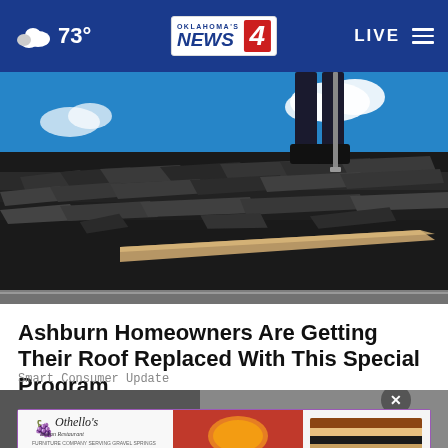73° | Oklahoma's News 4 | LIVE
[Figure (photo): Person standing on a damaged roof with broken/curling asphalt shingles, blue sky in background, worker removing shingles with a tool]
Ashburn Homeowners Are Getting Their Roof Replaced With This Special Program
Smart Consumer Update
[Figure (photo): Advertisement for Othello's Italian Restaurant with food images (pizza and dessert). Close button (X) visible. Text: ORDER ONLINE NOW!]